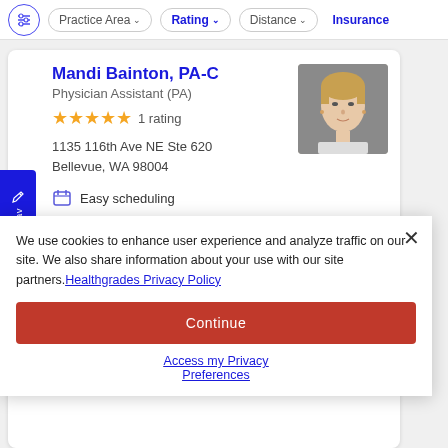Practice Area | Rating | Distance | Insurance
Mandi Bainton, PA-C
Physician Assistant (PA)
★★★★★ 1 rating
1135 116th Ave NE Ste 620
Bellevue, WA 98004
Easy scheduling
Employs friendly staff
Low wait times
[Figure (photo): Headshot of Mandi Bainton, PA-C — a woman with blonde hair]
[Figure (photo): Headshot of a male physician in a suit]
We use cookies to enhance user experience and analyze traffic on our site. We also share information about your use with our site partners. Healthgrades Privacy Policy
Continue
Access my Privacy Preferences
Explains conditions well